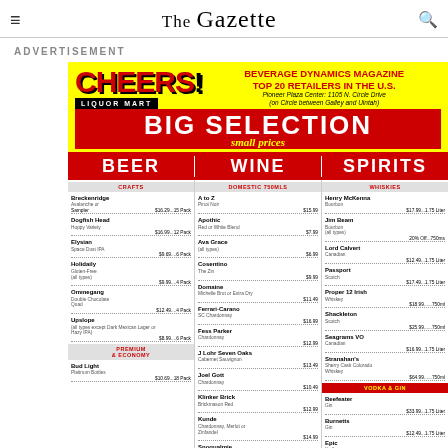The Gazette
ADVERTISEMENT
[Figure (infographic): Cheers Liquor Mart advertisement featuring BIG SELECTION small prices with Beer, Wine, and Spirits sections listing various products and prices. Beverage Dynamics Magazine Top 20 Retailers in the U.S. Pioneer Plaza Center: 1105 N. Circle Drive.]